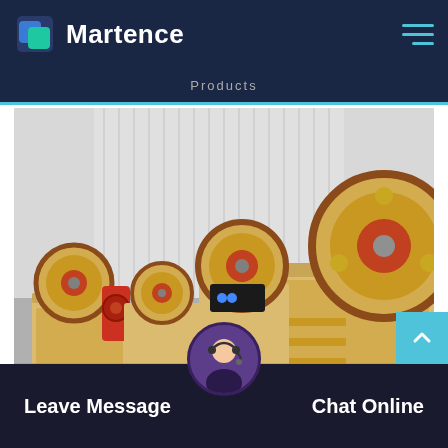Martence
Products
[Figure (photo): Industrial jaw crushers lined up in a factory warehouse. Multiple cream/yellow colored jaw crusher machines with red flywheel accents arranged in a row inside a large industrial building with corrugated metal walls.]
Leave Message
Chat Online